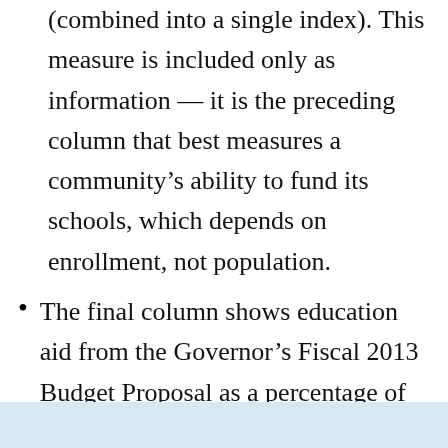(combined into a single index). This measure is included only as information — it is the preceding column that best measures a community's ability to fund its schools, which depends on enrollment, not population.
The final column shows education aid from the Governor's Fiscal 2013 Budget Proposal as a percentage of foundation budget.